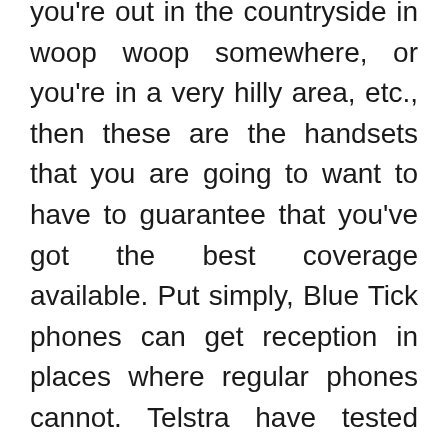you're out in the countryside in woop woop somewhere, or you're in a very hilly area, etc., then these are the handsets that you are going to want to have to guarantee that you've got the best coverage available. Put simply, Blue Tick phones can get reception in places where regular phones cannot. Telstra have tested each phone extensively to ensure that it meets the maximum coverage requirements.
The current range of Blue Tick approved phones on a plan includes the Telstra Signature Enhanced, the Samsung Galaxy S7, the Samsung Galaxy S7 Edge, the Samsung